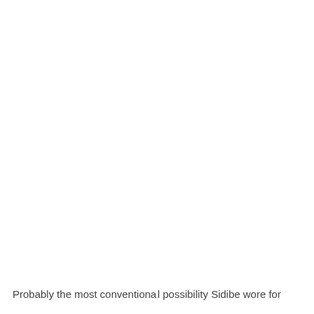Probably the most conventional possibility Sidibe wore for